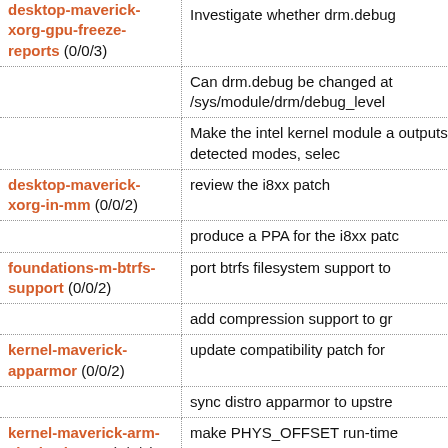| Blueprint | Work items |
| --- | --- |
| desktop-maverick-xorg-gpu-freeze-reports (0/0/3) | Investigate whether drm.debug… |
|  | Can drm.debug be changed at /sys/module/drm/debug_level |
|  | Make the intel kernel module a outputs, detected modes, selec… |
| desktop-maverick-xorg-in-mm (0/0/2) | review the i8xx patch |
|  | produce a PPA for the i8xx patc… |
| foundations-m-btrfs-support (0/0/2) | port btrfs filesystem support to… |
|  | add compression support to gr… |
| kernel-maverick-apparmor (0/0/2) | update compatibility patch for … |
|  | sync distro apparmor to upstre… |
| kernel-maverick-arm-single-zimage (1/0/8) | make PHYS_OFFSET run-time |
|  | make TEXT_OFFSET run-time |
|  | generic phys_to_virt() and virt_… |
|  | allow multiple machdirs and pla… |
|  | cleanup of machine specific he… |
|  | make NR_IRQs a run-time varia… |
|  | allow multiple run-time mappin… |
|  | … |